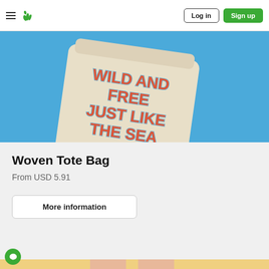Log in | Sign up
[Figure (photo): A woven tote bag with blue background. The bag has text reading 'WILD AND FREE JUST LIKE THE SEA' in red/coral block letters with blue outline.]
Woven Tote Bag
From USD 5.91
More information
[Figure (photo): Bottom strip showing person's legs on a yellow background, partially cropped.]